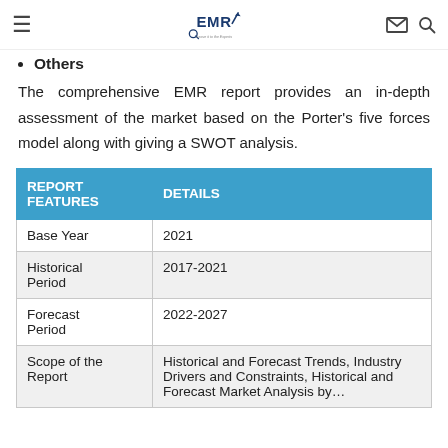EMR — Leave it to the Experts
Others
The comprehensive EMR report provides an in-depth assessment of the market based on the Porter's five forces model along with giving a SWOT analysis.
| REPORT FEATURES | DETAILS |
| --- | --- |
| Base Year | 2021 |
| Historical Period | 2017-2021 |
| Forecast Period | 2022-2027 |
| Scope of the Report | Historical and Forecast Trends, Industry Drivers and Constraints, Historical and Forecast Market Analysis by… |